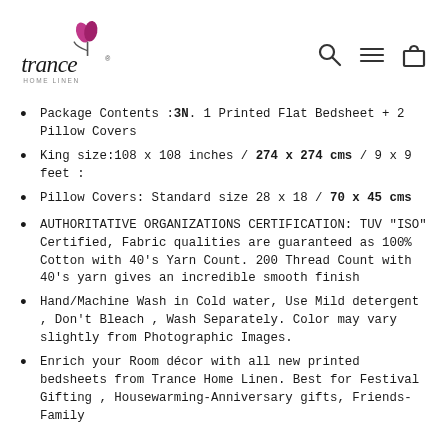[Figure (logo): Trance Home Linen logo with pink flower/tulip icon above stylized 'trance' text and 'HOME LINEN' subtitle]
Package Contents :3N. 1 Printed Flat Bedsheet + 2 Pillow Covers
King size:108 x 108 inches / 274 x 274 cms / 9 x 9 feet :
Pillow Covers: Standard size 28 x 18 / 70 x 45 cms
AUTHORITATIVE ORGANIZATIONS CERTIFICATION: TUV "ISO" Certified, Fabric qualities are guaranteed as 100% Cotton with 40's Yarn Count. 200 Thread Count with 40's yarn gives an incredible smooth finish
Hand/Machine Wash in Cold water, Use Mild detergent , Don't Bleach , Wash Separately. Color may vary slightly from Photographic Images.
Enrich your Room décor with all new printed bedsheets from Trance Home Linen. Best for Festival Gifting , Housewarming-Anniversary gifts, Friends- Family